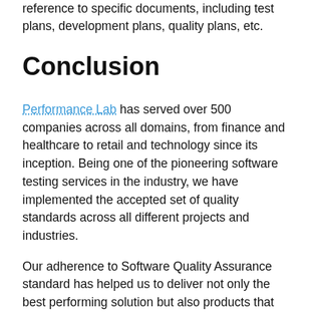reference to specific documents, including test plans, development plans, quality plans, etc.
Conclusion
Performance Lab has served over 500 companies across all domains, from finance and healthcare to retail and technology since its inception. Being one of the pioneering software testing services in the industry, we have implemented the accepted set of quality standards across all different projects and industries.
Our adherence to Software Quality Assurance standard has helped us to deliver not only the best performing solution but also products that fulfil all industry quality requirements.
By trusting on their expertise, your business can